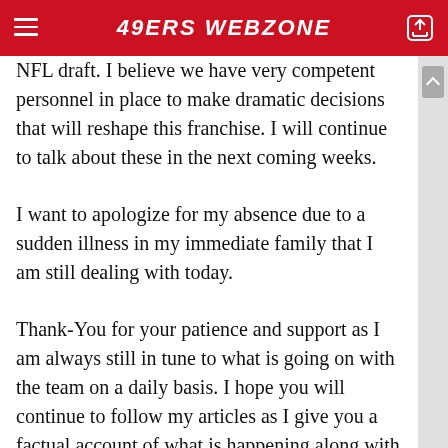49ERS WEBZONE
NFL draft. I believe we have very competent personnel in place to make dramatic decisions that will reshape this franchise. I will continue to talk about these in the next coming weeks.
I want to apologize for my absence due to a sudden illness in my immediate family that I am still dealing with today.
Thank-You for your patience and support as I am always still in tune to what is going on with the team on a daily basis. I hope you will continue to follow my articles as I give you a factual account of what is happening along with a personal opinion of my own.